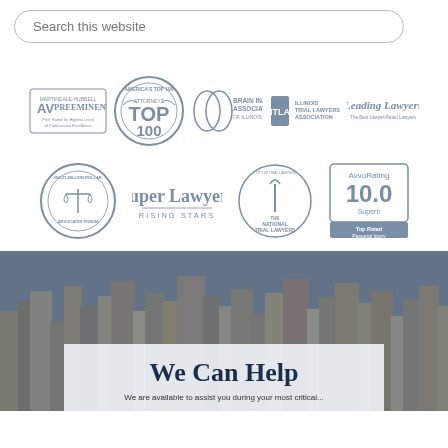Search this website
[Figure (logo): Row of legal award badges: Martindale-Hubbell AV Preeminent, America's Top 100 Attorneys Top 100, Brain Injury Association of Illinois, ITLA Illinois Trial Lawyers Association, Leading Lawyers]
[Figure (logo): Row of legal award badges: Multi-Million Dollar Advocates Forum, Super Lawyers Rising Stars, The National Trial Lawyers Top 100 Trial Lawyers, Avvo Rating 10.0 Superb Top Rated Personal Injury]
[Figure (photo): City skyline background photo of tall buildings]
We Can Help
We are available to assist you during your most critical...